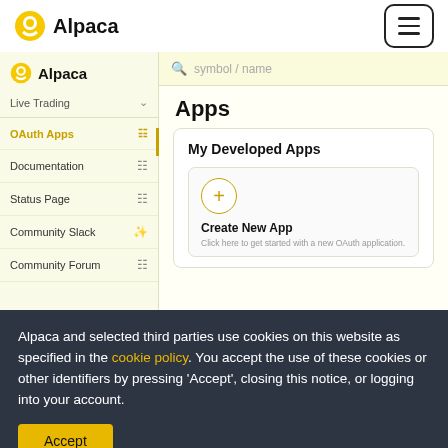Alpaca
[Figure (screenshot): Alpaca trading platform sidebar navigation showing OAuth Apps, Documentation, Status Page, Community Slack, Community Forum menu items, and main content area showing Apps / My Developed Apps with a Create New App card]
Alpaca and selected third parties use cookies on this website as specified in the cookie policy. You accept the use of these cookies or other identifiers by pressing 'Accept', closing this notice, or logging into your account.